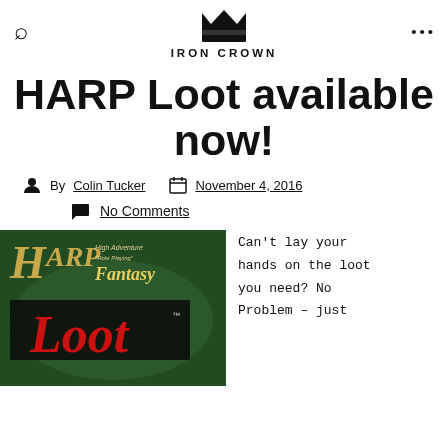IRON CROWN
HARP Loot available now!
By Colin Tucker  November 4, 2016
No Comments
[Figure (photo): HARP Fantasy Loot book cover with dark background and golden HARP logo]
Can't lay your hands on the loot you need? No Problem – just